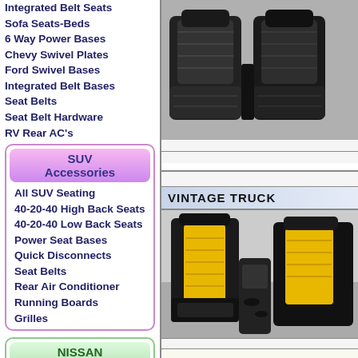Integrated Belt Seats
Sofa Seats-Beds
6 Way Power Bases
Chevy Swivel Plates
Ford Swivel Bases
Integrated Belt Bases
Seat Belts
Seat Belt Hardware
RV Rear AC's
SUV Accessories
All SUV Seating
40-20-40 High Back Seats
40-20-40 Low Back Seats
Power Seat Bases
Quick Disconnects
Seat Belts
Rear Air Conditioner
Running Boards
Grilles
NISSAN Accessories
All Nissan Seating
Front Captains Chairs
Integrated Belt Seats
Sofa Seats-Beds
Extend-A-Beds
Jump Seats
[Figure (photo): Black leather car seats (captain chairs) with chrome details]
VINTAGE TRUCK
[Figure (photo): Black and yellow vintage truck seats with center console/armrest]